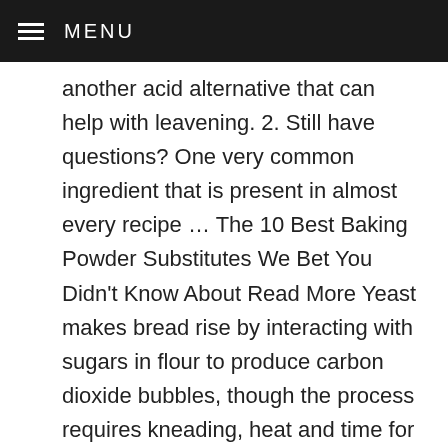MENU
another acid alternative that can help with leavening. 2. Still have questions? One very common ingredient that is present in almost every recipe … The 10 Best Baking Powder Substitutes We Bet You Didn't Know About Read More Yeast makes bread rise by interacting with sugars in flour to produce carbon dioxide bubbles, though the process requires kneading, heat and time for the leavening (rising) to begin before baking. ENO is 46% Sodium Bicarbonate (baking soda) and a mixture of citric acid and other carbonates. Eno fruit salt and Baking powder is different things. Can we use Eno instead of baking soda? I would add the equivalent of 1 … As a Cleaner for your Microwave- Put 2 tbsp of baking powder and 2 cups of water in a microwave safe bowl and microwave for 2 minutes. To substitute for 1 teaspoon baking powder, combine 1/2 cup sour milk and 1/4 teaspoon baking soda. Thoun Kheang/Demand Media Pour the liquid ingredients, milk, honey and vegetable oil, into the small bowl and mix well with a whisk. Thoun Kheang/Demand Media. Combine the dry ingredients, all-purpose flour, whole-wheat flour, baking powder and salt, in the large bowl and blend with a wooden spoon until thoroughly mixed. It originally contained sodium bicarbonate